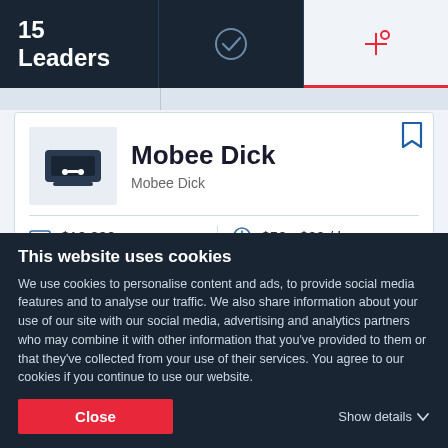15 Leaders
Mobee Dick
Mobee Dick
$10,000+
$50 - $99 / hr
10 - 49
Warszawa, Poland
Ability to deliver 31.1
This website uses cookies
We use cookies to personalise content and ads, to provide social media features and to analyse our traffic. We also share information about your use of our site with our social media, advertising and analytics partners who may combine it with other information that you've provided to them or that they've collected from your use of their services. You agree to our cookies if you continue to use our website.
Close
Show details